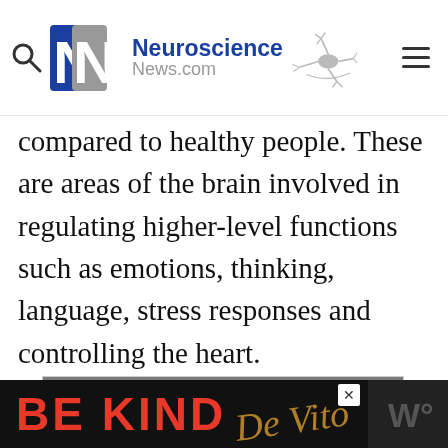[Figure (logo): Neuroscience News.com logo with double-N monogram and neuron graphic, search icon on left, hamburger menu on right]
compared to healthy people. These are areas of the brain involved in regulating higher-level functions such as emotions, thinking, language, stress responses and controlling the heart.
[Figure (illustration): Colorful illustration of diverse crowd of people, one holding a sign reading 'BLACK LIVES' and another partially visible sign reading 'WE', in protest/social justice art style]
[Figure (screenshot): Bottom advertisement bar with black background showing 'BE KIND' in red text and decorative script elements, with an X close button]